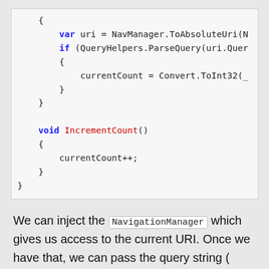[Figure (other): Code block showing C# code with a void IncrementCount() method and variable declarations using NavManager and QueryHelpers]
We can inject the NavigationManager which gives us access to the current URI. Once we have that, we can pass the query string ( uri.Query ) to the